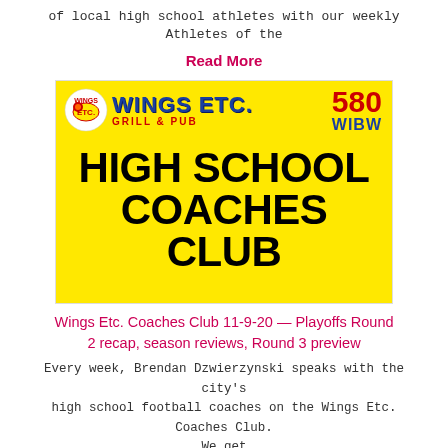of local high school athletes with our weekly Athletes of the
Read More
[Figure (photo): Wings Etc. Grill & Pub advertisement banner with 580 WIBW logo on yellow background showing HIGH SCHOOL COACHES CLUB text]
Wings Etc. Coaches Club 11-9-20 — Playoffs Round 2 recap, season reviews, Round 3 preview
Every week, Brendan Dzwierzynski speaks with the city's high school football coaches on the Wings Etc. Coaches Club. We get